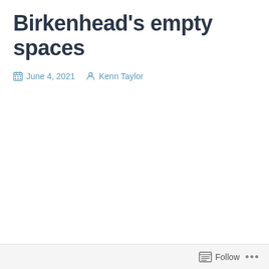Birkenhead's empty spaces
June 4, 2021   Kenn Taylor